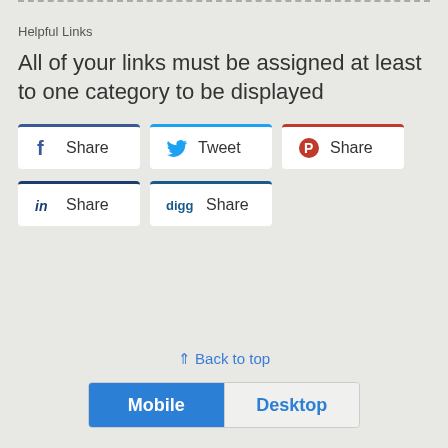Helpful Links
All of your links must be assigned at least to one category to be displayed
[Figure (screenshot): Social share buttons: Facebook Share, Twitter Tweet, Pinterest Share, LinkedIn Share, Digg Share]
⇑ Back to top
[Figure (infographic): Mobile/Desktop toggle bar with Mobile selected (blue) and Desktop unselected]